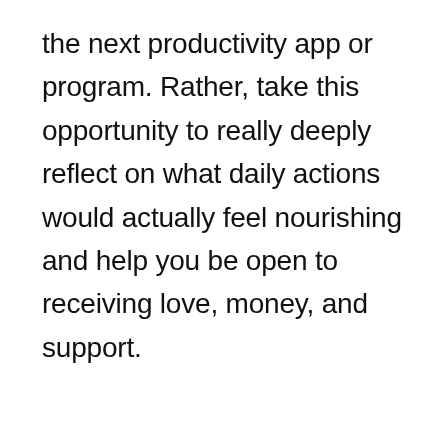the next productivity app or program. Rather, take this opportunity to really deeply reflect on what daily actions would actually feel nourishing and help you be open to receiving love, money, and support.